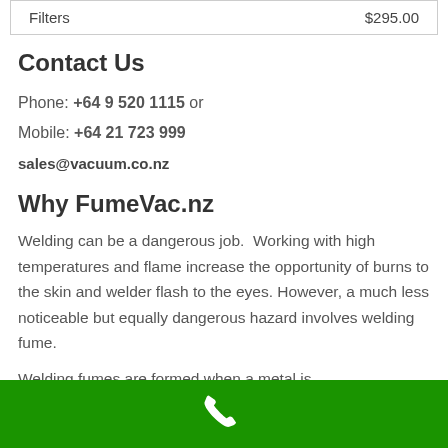| Filters | $295.00 |
Contact Us
Phone: +64 9 520 1115 or
Mobile: +64 21 723 999
sales@vacuum.co.nz
Why FumeVac.nz
Welding can be a dangerous job.  Working with high temperatures and flame increase the opportunity of burns to the skin and welder flash to the eyes. However, a much less noticeable but equally dangerous hazard involves welding fume.
Welding fumes are formed when a metal is
[Figure (other): Green footer bar with white phone icon]